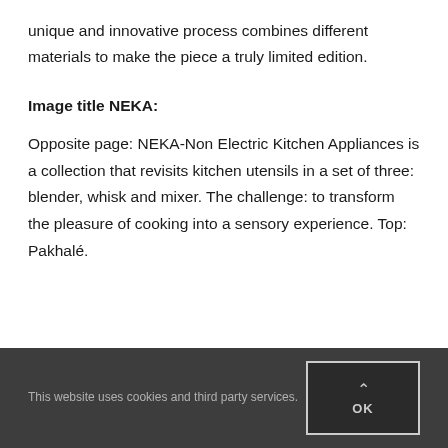unique and innovative process combines different materials to make the piece a truly limited edition.
Image title NEKA:
Opposite page: NEKA-Non Electric Kitchen Appliances is a collection that revisits kitchen utensils in a set of three: blender, whisk and mixer. The challenge: to transform the pleasure of cooking into a sensory experience. Top: Pakhalé.
This website uses cookies and third party services.